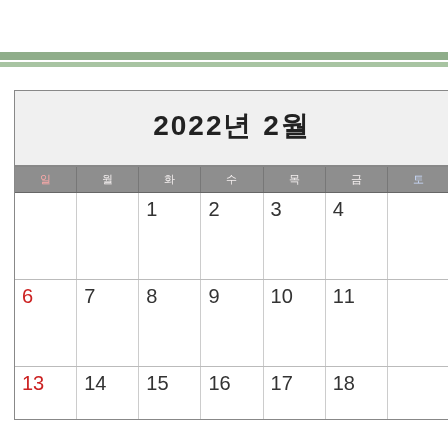2022년 2월
| 일 | 월 | 화 | 수 | 목 | 금 |
| --- | --- | --- | --- | --- | --- |
|  |  | 1 | 2 | 3 | 4 |
| 6 | 7 | 8 | 9 | 10 | 11 |
| 13 | 14 | 15 | 16 | 17 | 18 |